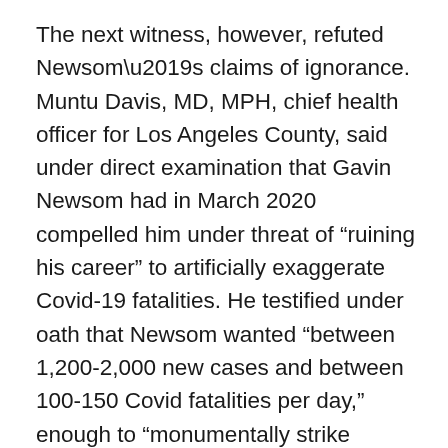The next witness, however, refuted Newsom’s claims of ignorance. Muntu Davis, MD, MPH, chief health officer for Los Angeles County, said under direct examination that Gavin Newsom had in March 2020 compelled him under threat of “ruining his career” to artificially exaggerate Covid-19 fatalities. He testified under oath that Newsom wanted “between 1,200-2,000 new cases and between 100-150 Covid fatalities per day,” enough to “monumentally strike enough fear in the public” so that every citizen of Los Angeles County would be clamoring to get vaccinated. Furthermore, Dr. Davis said Newsom had set quotas for each county in the state, a metric whereby health officials would face debasement and termination unless they